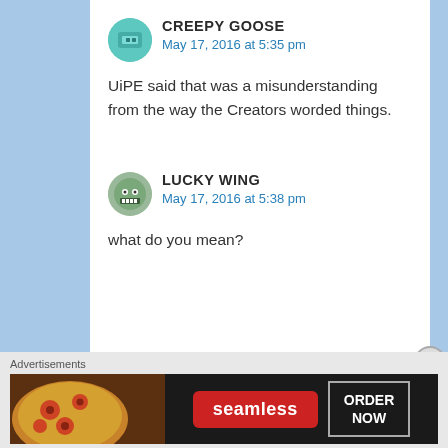CREEPY GOOSE
May 17, 2016 at 5:35 pm
UiPE said that was a misunderstanding from the way the Creators worded things.
LUCKY WING
May 17, 2016 at 5:38 pm
what do you mean?
[Figure (infographic): Seamless food ordering advertisement banner with pizza image, seamless logo in red, and ORDER NOW button]
Advertisements